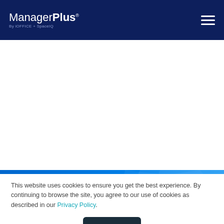ManagerPlus By iOFFICE + SpaceIQ
[Figure (illustration): Blue hero banner with geometric diagonal shapes and breadcrumb navigation showing Home > Blog, with large white text 'furnaces Blog']
This website uses cookies to ensure you get the best experience. By continuing to browse the site, you agree to our use of cookies as described in our Privacy Policy.
Okay